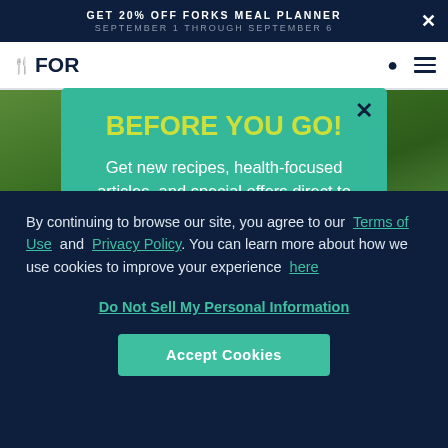GET 20% OFF FORKS MEAL PLANNER
SEPTEMBER 1 THROUGH SEPTEMBER 6
[Figure (screenshot): Navigation bar with Forks Over Knives logo, search icon, and hamburger menu]
[Figure (photo): Green grass/nature background image behind modal popup]
BEFORE YOU GO!
Get new recipes, health-focused articles, and special offers direct to your inbox when you
By continuing to browse our site, you agree to our Terms of Use and Privacy Policy. You can learn more about how we use cookies to improve your experience here
Do Not Sell My Personal Information
Accept Cookies